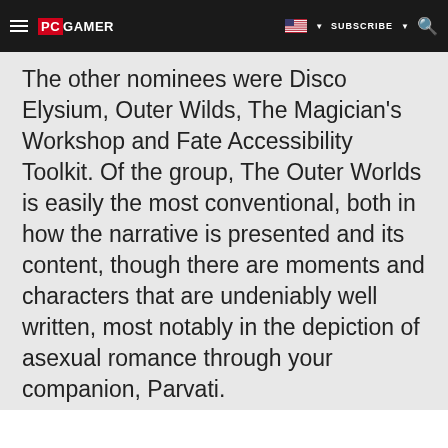PC GAMER | SUBSCRIBE
The other nominees were Disco Elysium, Outer Wilds, The Magician's Workshop and Fate Accessibility Toolkit. Of the group, The Outer Worlds is easily the most conventional, both in how the narrative is presented and its content, though there are moments and characters that are undeniably well written, most notably in the depiction of asexual romance through your companion, Parvati.